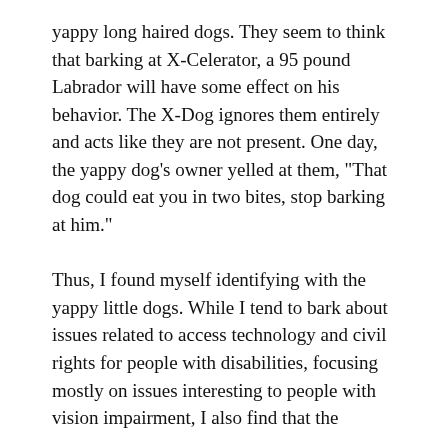yappy long haired dogs. They seem to think that barking at X-Celerator, a 95 pound Labrador will have some effect on his behavior. The X-Dog ignores them entirely and acts like they are not present. One day, the yappy dog’s owner yelled at them, “That dog could eat you in two bites, stop barking at him.”
Thus, I found myself identifying with the yappy little dogs. While I tend to bark about issues related to access technology and civil rights for people with disabilities, focusing mostly on issues interesting to people with vision impairment, I also find that the